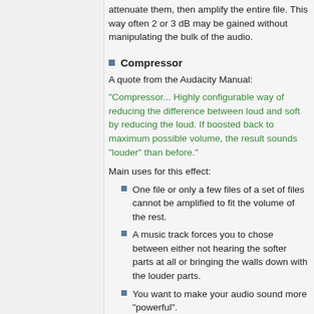attenuate them, then amplify the entire file. This way often 2 or 3 dB may be gained without manipulating the bulk of the audio.
Compressor
A quote from the Audacity Manual:
"Compressor... Highly configurable way of reducing the difference between loud and soft by reducing the loud. If boosted back to maximum possible volume, the result sounds "louder" than before."
Main uses for this effect:
One file or only a few files of a set of files cannot be amplified to fit the volume of the rest.
A music track forces you to chose between either not hearing the softer parts at all or bringing the walls down with the louder parts.
You want to make your audio sound more "powerful".
The compressor is typically applied to an entire